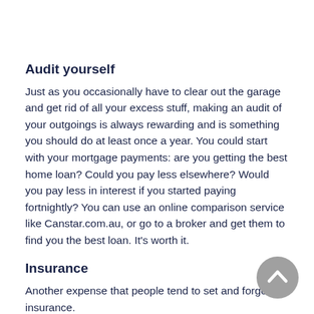Audit yourself
Just as you occasionally have to clear out the garage and get rid of all your excess stuff, making an audit of your outgoings is always rewarding and is something you should do at least once a year. You could start with your mortgage payments: are you getting the best home loan? Could you pay less elsewhere? Would you pay less in interest if you started paying fortnightly? You can use an online comparison service like Canstar.com.au, or go to a broker and get them to find you the best loan. It's worth it.
Insurance
Another expense that people tend to set and forget is insurance.